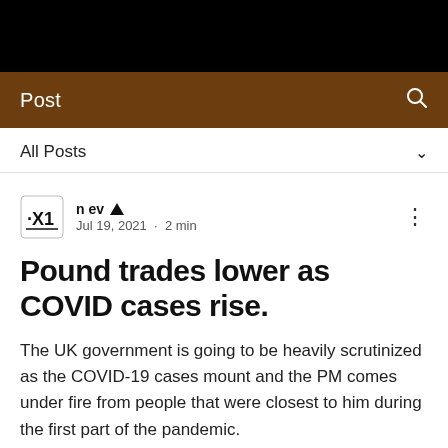Post
All Posts
n ev · Jul 19, 2021 · 2 min
Pound trades lower as COVID cases rise.
The UK government is going to be heavily scrutinized as the COVID-19 cases mount and the PM comes under fire from people that were closest to him during the first part of the pandemic.